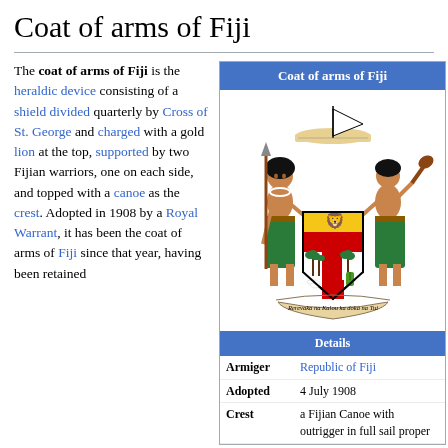Coat of arms of Fiji
The coat of arms of Fiji is the heraldic device consisting of a shield divided quarterly by Cross of St. George and charged with a gold lion at the top, supported by two Fijian warriors, one on each side, and topped with a canoe as the crest. Adopted in 1908 by a Royal Warrant, it has been the coat of arms of Fiji since that year, having been retained
[Figure (illustration): Coat of arms of Fiji showing two Fijian warriors supporting a shield with a lion, palm trees, dove, and sugar cane, topped with a canoe, with the motto 'Rerevaka na Kalou ka doka na Tui']
|  |  |
| --- | --- |
| Armiger | Republic of Fiji |
| Adopted | 4 July 1908 |
| Crest | a Fijian Canoe with outrigger in full sail proper |